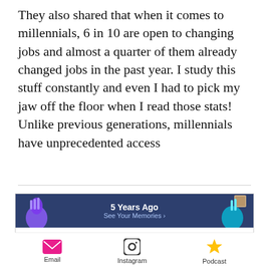They also shared that when it comes to millennials, 6 in 10 are open to changing jobs and almost a quarter of them already changed jobs in the past year. I study this stuff constantly and even I had to pick my jaw off the floor when I read those stats! Unlike previous generations, millennials have unprecedented access
[Figure (screenshot): Facebook Memories screenshot showing a post by Jill Felska from April 30, 2013 via Instagram about an 80 degree mandate company policy, with a reaction bar below. Bottom navigation shows Email, Instagram, and Podcast icons.]